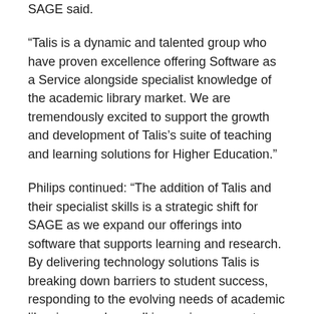SAGE said.
“Talis is a dynamic and talented group who have proven excellence offering Software as a Service alongside specialist knowledge of the academic library market. We are tremendously excited to support the growth and development of Talis’s suite of teaching and learning solutions for Higher Education.”
Philips continued: “The addition of Talis and their specialist skills is a strategic shift for SAGE as we expand our offerings into software that supports learning and research. By delivering technology solutions Talis is breaking down barriers to student success, responding to the evolving needs of academic librarians, and overall improving access to resources in Higher Education.”
Talis has built a strong reputation as a leading software solutions provider improving student learning workflow and making life easier for academic libraries to manage thousands of course resource lists. Talis Aspire – a resource list management system